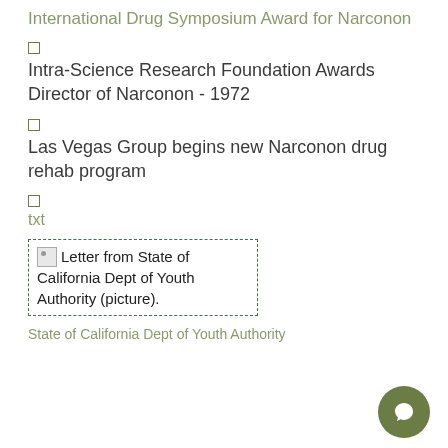International Drug Symposium Award for Narconon
Intra-Science Research Foundation Awards Director of Narconon - 1972
Las Vegas Group begins new Narconon drug rehab program
txt
[Figure (photo): Letter from State of California Dept of Youth Authority (picture).]
State of California Dept of Youth Authority